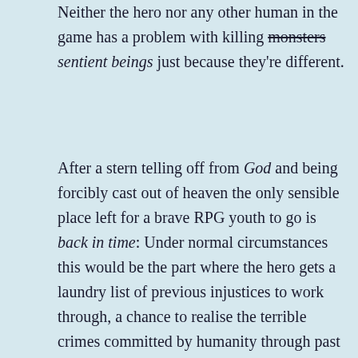Neither the hero nor any other human in the game has a problem with killing monsters sentient beings just because they're different.
After a stern telling off from God and being forcibly cast out of heaven the only sensible place left for a brave RPG youth to go is back in time: Under normal circumstances this would be the part where the hero gets a laundry list of previous injustices to work through, a chance to realise the terrible crimes committed by humanity through past generations and turn things around for everyone's benefit – but not here. Instead of putting right what once went wrong our little lead instead bears witness to past atrocities or ends up directly committing them himself – all the while being feted as a hero for his increasingly obviously unheroic